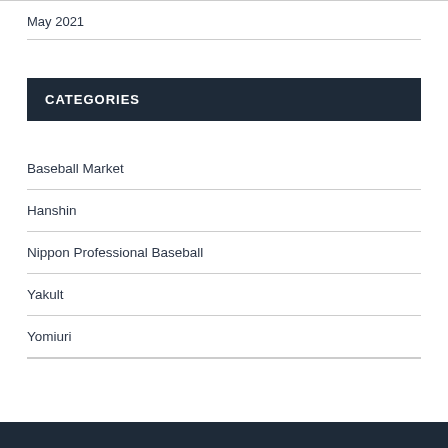May 2021
CATEGORIES
Baseball Market
Hanshin
Nippon Professional Baseball
Yakult
Yomiuri